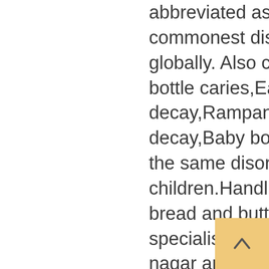abbreviated as ECC is the fifth most commonest disorder among children, globally. Also commonly called as Nursing bottle caries,Early childhood decay,Rampant caries,Mother feed decay,Baby bottle tooth decay all implies the same disorder ECC for children.Handling of this disease is the bread and butter of our pediatric dental specialists at KIDZ N TEENZ in Anna nagar and Pallikaranai.
We have taken great care in making sure our practice is a fun, inviting place for kids and We offer a warm, friendly and energetic atmosphere that will